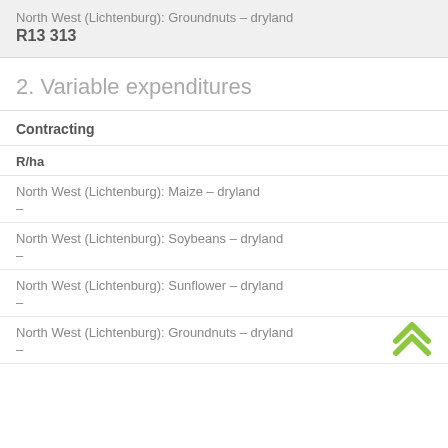North West (Lichtenburg): Groundnuts - dryland
R13 313
2. Variable expenditures
Contracting
R/ha
North West (Lichtenburg): Maize - dryland
—
North West (Lichtenburg): Soybeans - dryland
—
North West (Lichtenburg): Sunflower - dryland
—
North West (Lichtenburg): Groundnuts - dryland
—